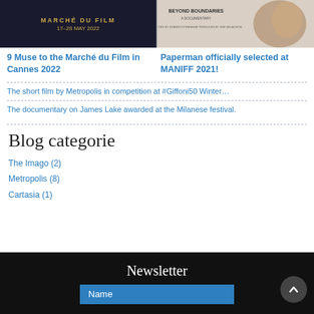[Figure (illustration): Dark blue background poster for Marché du Film with golden text reading MARCHE DU FILM 17-28 MAY 2022]
[Figure (illustration): Beige background film poster with text BEYOND BOUNDARIES and partial face image]
9 Muse to the Marché du Film in Cannes 2022
Paperman officially selected at MANIFF 2021!
The short film by Metropolis in competition at #Giffoni50 Winter…
The documentary on James Lake awarded at the Milanese festival.
Blog categorie
The Imago (2)
Metropolis (8)
Cartasia (1)
Newsletter
Name